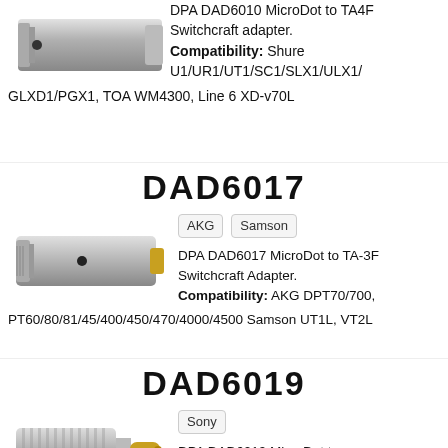[Figure (photo): DPA DAD6010 adapter - small cylindrical silver connector]
DPA DAD6010 MicroDot to TA4F Switchcraft adapter. Compatibility: Shure U1/UR1/UT1/SC1/SLX1/ULX1/GLXD1/PGX1, TOA WM4300, Line 6 XD-v70L
DAD6017
[Figure (photo): DPA DAD6017 adapter - silver cylindrical connector with black dot and gold tip]
AKG  Samson
DPA DAD6017 MicroDot to TA-3F Switchcraft Adapter. Compatibility: AKG DPT70/700, PT60/80/81/45/400/450/470/4000/4500 Samson UT1L, VT2L
DAD6019
[Figure (photo): DPA DAD6019 adapter - silver threaded mini-jack connector with gold tip]
Sony
DPA DAD6019 MicroDot to Mini-Jack (with thread)